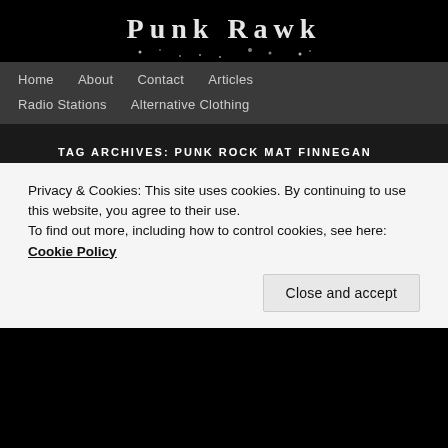[Figure (illustration): Website header banner with white spattered/grunge text on black background]
Home | About | Contact | Articles | Radio Stations | Alternative Clothing
TAG ARCHIVES: PUNK ROCK MAT FINNEGAN
IMAGE
Punk Rock Guru Maty Almost
[Figure (photo): Partial thumbnail image of article content, partially obscured by cookie banner]
Privacy & Cookies: This site uses cookies. By continuing to use this website, you agree to their use.
To find out more, including how to control cookies, see here: Cookie Policy
Close and accept